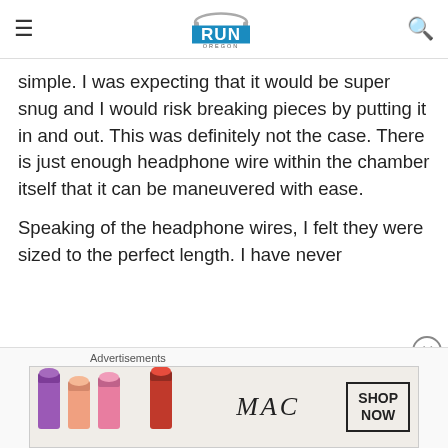Run Oregon
simple. I was expecting that it would be super snug and I would risk breaking pieces by putting it in and out. This was definitely not the case. There is just enough headphone wire within the chamber itself that it can be maneuvered with ease.
Speaking of the headphone wires, I felt they were sized to the perfect length. I have never
[Figure (infographic): MAC Cosmetics advertisement banner with lipsticks and 'SHOP NOW' button]
Advertisements